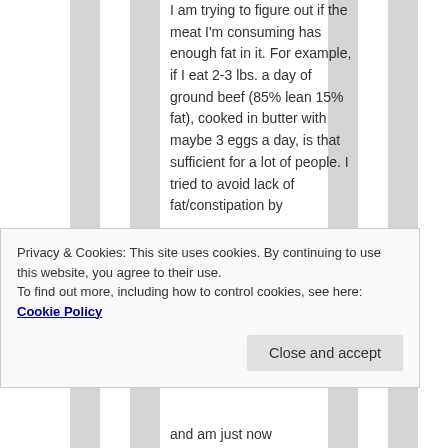I am trying to figure out if the meat I'm consuming has enough fat in it. For example, if I eat 2-3 lbs. a day of ground beef (85% lean 15% fat), cooked in butter with maybe 3 eggs a day, is that sufficient for a lot of people. I tried to avoid lack of fat/constipation by
Privacy & Cookies: This site uses cookies. By continuing to use this website, you agree to their use. To find out more, including how to control cookies, see here: Cookie Policy
and am just now